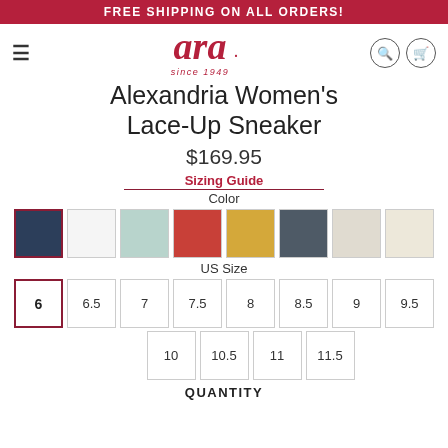FREE SHIPPING ON ALL ORDERS!
[Figure (logo): Ara shoes logo with 'since 1949' tagline and navigation icons (hamburger menu, search, cart)]
Alexandria Women's Lace-Up Sneaker
$169.95
Sizing Guide
Color
[Figure (other): Color swatches: navy (selected), white, mint, red/terracotta, gold/yellow, slate gray, light beige, cream]
US Size
| 6 (selected) | 6.5 | 7 | 7.5 | 8 | 8.5 | 9 | 9.5 |
| 10 | 10.5 | 11 | 11.5 |
QUANTITY